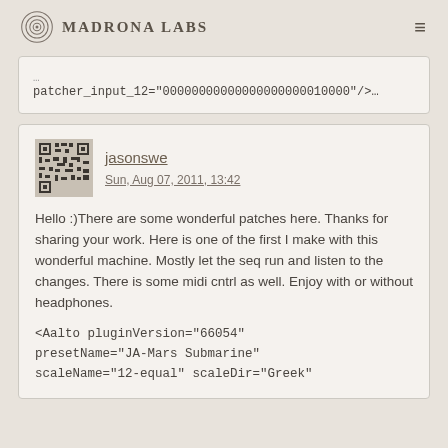Madrona Labs
patcher_input_12="00000000000000000000010000"/>
jasonswe
Sun, Aug 07, 2011, 13:42

Hello :)There are some wonderful patches here. Thanks for sharing your work. Here is one of the first I make with this wonderful machine. Mostly let the seq run and listen to the changes. There is some midi cntrl as well. Enjoy with or without headphones.

<Aalto pluginVersion="66054" presetName="JA-Mars Submarine" scaleName="12-equal" scaleDir="Greek"